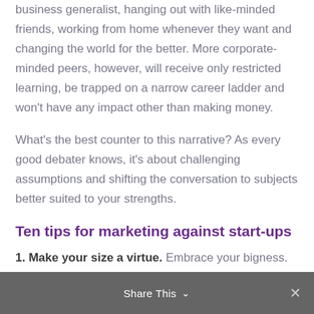business generalist, hanging out with like-minded friends, working from home whenever they want and changing the world for the better. More corporate-minded peers, however, will receive only restricted learning, be trapped on a narrow career ladder and won't have any impact other than making money.
What's the best counter to this narrative? As every good debater knows, it's about challenging assumptions and shifting the conversation to subjects better suited to your strengths.
Ten tips for marketing against start-ups
1. Make your size a virtue. Embrace your bigness. Talk about the size of your workforce, your expertise, your